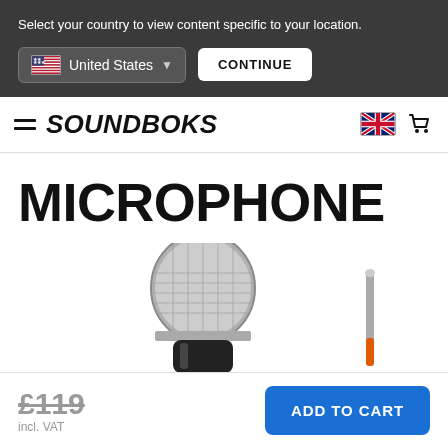Select your country to view content specific to your location.
[Figure (screenshot): Country selector dropdown showing United States flag and text, with a CONTINUE button]
SOUNDBOKS
MICROPHONE
[Figure (photo): Close-up photo of a handheld dynamic microphone (silver grille, black body) and a guitar jack plug with orange tip]
£119 incl. VAT
ADD TO CART